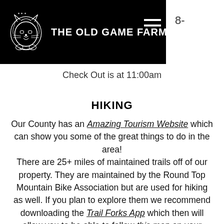THE OLD GAME FARM
Check Out is at 11:00am
HIKING
Our County has an Amazing Tourism Website which can show you some of the great things to do in the area! There are 25+ miles of maintained trails off of our property. They are maintained by the Round Top Mountain Bike Association but are used for hiking as well. If you plan to explore them we recommend downloading the Trail Forks App which then will allow you to be able to follow this map on your phone. The Old Game Farm connects to the "Jurassic Trail" which is a blue trail in the lower right corner when